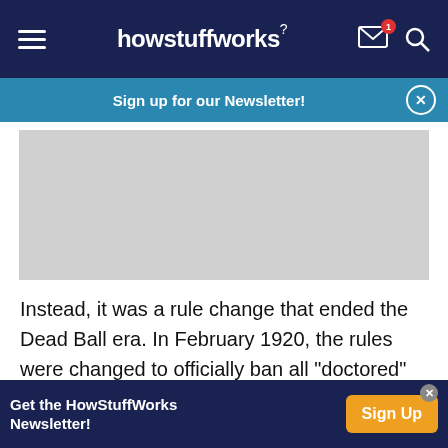howstuffworks
Sign up for our Newsletter!
[Figure (other): Grey advertisement placeholder rectangle]
Instead, it was a rule change that ended the Dead Ball era. In February 1920, the rules were changed to officially ban all "doctored" pitches, including spit balls, scuffed balls, sanded balls and any other trick pitch. Imagine the condition of a ball that had been
Get the HowStuffWorks Newsletter!